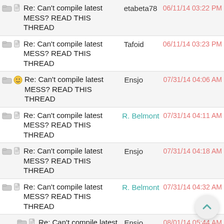Re: Can't compile latest MESS? READ THIS THREAD — etabeta78 — 06/11/14 03:22 PM
Re: Can't compile latest MESS? READ THIS THREAD — Tafoid — 06/11/14 03:23 PM
Re: Can't compile latest MESS? READ THIS THREAD — Ensjo — 07/31/14 04:06 AM
Re: Can't compile latest MESS? READ THIS THREAD — R. Belmont — 07/31/14 04:11 AM
Re: Can't compile latest MESS? READ THIS THREAD — Ensjo — 07/31/14 04:18 AM
Re: Can't compile latest MESS? READ THIS THREAD — R. Belmont — 07/31/14 04:32 AM
Re: Can't compile latest MESS? READ THIS THREAD — Ensjo — 08/01/14 05:44 AM
Re: Can't compile latest MESS? READ THIS THREAD — qmc2 — 08/01/14 07:28 AM
Re: Can't compile latest MESS? READ THIS THREAD — Ensjo — 08/02/14 03:52 AM